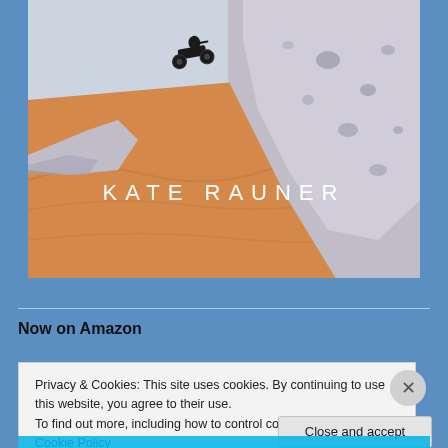[Figure (illustration): Book cover image showing a quad bike rider silhouette on orange desert sand dunes with large white eroded rock formations. Text 'KATE RAUNER' appears in white futuristic letters across the lower portion of the image.]
Now on Amazon
Privacy & Cookies: This site uses cookies. By continuing to use this website, you agree to their use.
To find out more, including how to control cookies, see here: Cookie Policy
Close and accept